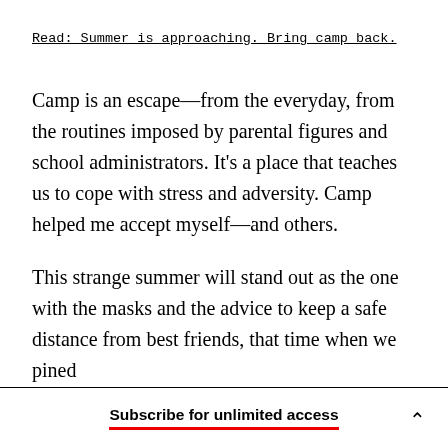Read: Summer is approaching. Bring camp back.
Camp is an escape—from the everyday, from the routines imposed by parental figures and school administrators. It’s a place that teaches us to cope with stress and adversity. Camp helped me accept myself—and others.
This strange summer will stand out as the one with the masks and the advice to keep a safe distance from best friends, that time when we pined
Subscribe for unlimited access